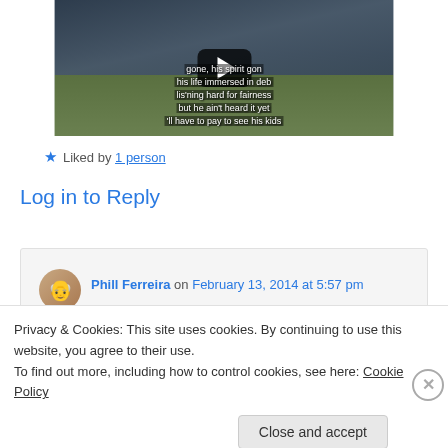[Figure (screenshot): Video thumbnail showing a YouTube-style play button overlay on an image with subtitle text: 'gone, his spirit gon / his life immersed in deb / lis'ning hard for fairness / but he ain't heard it yet / 'll have to pay to see his kids']
★ Liked by 1 person
Log in to Reply
Phill Ferreira on February 13, 2014 at 5:57 pm
Privacy & Cookies: This site uses cookies. By continuing to use this website, you agree to their use.
To find out more, including how to control cookies, see here: Cookie Policy
Close and accept